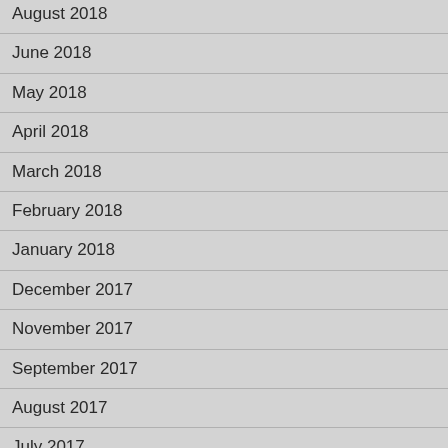August 2018
June 2018
May 2018
April 2018
March 2018
February 2018
January 2018
December 2017
November 2017
September 2017
August 2017
July 2017
June 2017